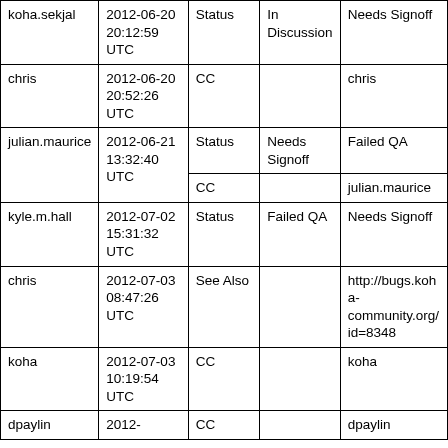| Who | When | What | Removed | Added |
| --- | --- | --- | --- | --- |
| koha.sekjal | 2012-06-20 20:12:59 UTC | Status | In Discussion | Needs Signoff |
| chris | 2012-06-20 20:52:26 UTC | CC |  | chris |
| julian.maurice | 2012-06-21 13:32:40 UTC | Status | Needs Signoff | Failed QA |
|  |  | CC |  | julian.maurice |
| kyle.m.hall | 2012-07-02 15:31:32 UTC | Status | Failed QA | Needs Signoff |
| chris | 2012-07-03 08:47:26 UTC | See Also |  | http://bugs.koha-community.org/id=8348 |
| koha | 2012-07-03 10:19:54 UTC | CC |  | koha |
| dpaylin | 2012- | CC |  | dpaylin |